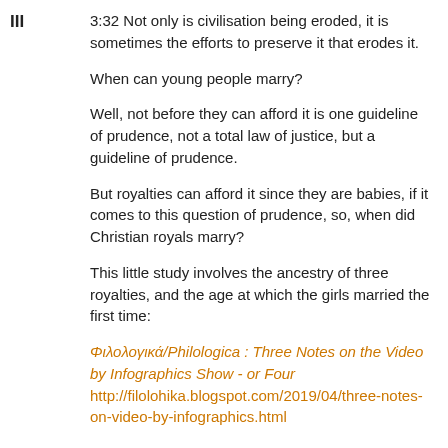III
3:32 Not only is civilisation being eroded, it is sometimes the efforts to preserve it that erodes it.
When can young people marry?
Well, not before they can afford it is one guideline of prudence, not a total law of justice, but a guideline of prudence.
But royalties can afford it since they are babies, if it comes to this question of prudence, so, when did Christian royals marry?
This little study involves the ancestry of three royalties, and the age at which the girls married the first time:
Φιλολογικά/Philologica : Three Notes on the Video by Infographics Show - or Four
http://filolohika.blogspot.com/2019/04/three-notes-on-video-by-infographics.html